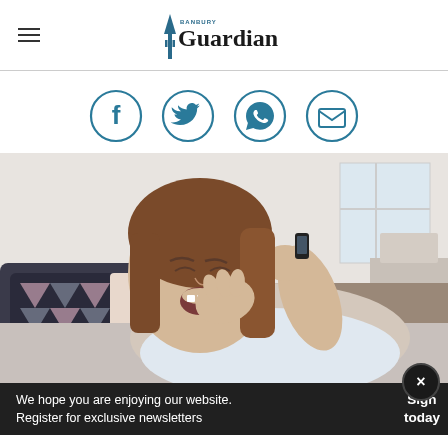Banbury Guardian
[Figure (infographic): Social share icons: Facebook, Twitter, WhatsApp, Email — circular teal outlines]
[Figure (photo): Young woman lying in bed yawning while talking on a mobile phone, with patterned pillows behind her]
We hope you are enjoying our website. Register for exclusive newsletters
Sign up today